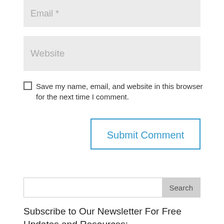Email *
Website
Save my name, email, and website in this browser for the next time I comment.
Submit Comment
Search
Subscribe to Our Newsletter For Free Updates and Resources: